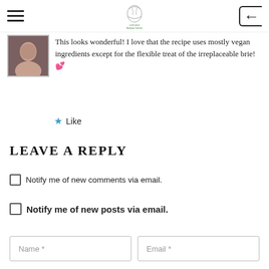[hamburger menu] [logo] [back icon]
This looks wonderful! I love that the recipe uses mostly vegan ingredients except for the flexible treat of the irreplaceable brie! 💕
★ Like
LEAVE A REPLY
☐ Notify me of new comments via email.
☐ Notify me of new posts via email.
Name *   Email *